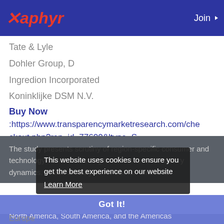Xaphyr — Join
Tate & Lyle
Dohler Group, D
Ingredion Incorporated
Koninklijke DSM N.V.
Buy Now
:https://www.transparencymarketresearch.com/checkout.php?rep_id=77600&ltype=S
The study presents scrutiny of region-specific consumer and technology trends, including the most recent industry dynamics. These broadly cover but not limited to
This website uses cookies to ensure you get the best experience on our website Learn More
Got It!
North America, South America, and the Americas
Asia Pacific and Japan
Europe